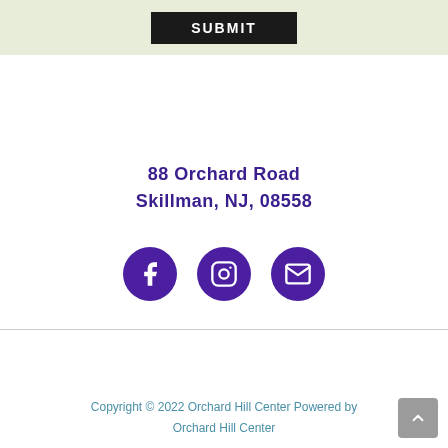[Figure (screenshot): SUBMIT button on light green background]
88 Orchard Road
Skillman, NJ, 08558
[Figure (infographic): Three circular social media icons: Facebook, Instagram, Email]
Copyright © 2022 Orchard Hill Center Powered by Orchard Hill Center